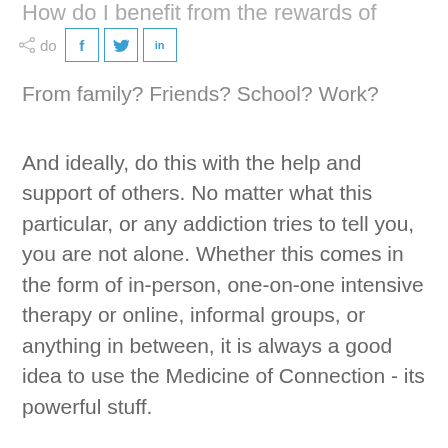How do I benefit from the rewards of
[Figure (other): Share icon and social media buttons: Facebook (f), Twitter (bird), LinkedIn (in)]
From family? Friends? School? Work?
And ideally, do this with the help and support of others. No matter what this particular, or any addiction tries to tell you, you are not alone. Whether this comes in the form of in-person, one-on-one intensive therapy or online, informal groups, or anything in between, it is always a good idea to use the Medicine of Connection - its powerful stuff.